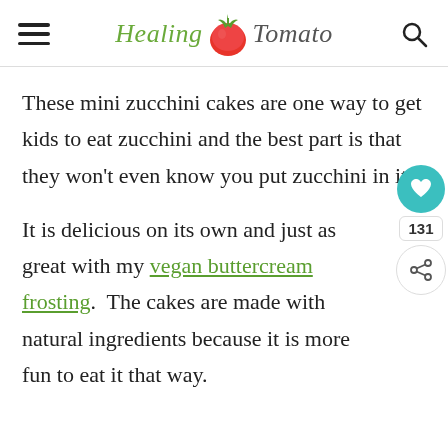Healing Tomato (logo header with hamburger menu and search icon)
These mini zucchini cakes are one way to get kids to eat zucchini and the best part is that they won't even know you put zucchini in it.
It is delicious on its own and just as great with my vegan buttercream frosting.  The cakes are made with natural ingredients because it is more fun to eat it that way.